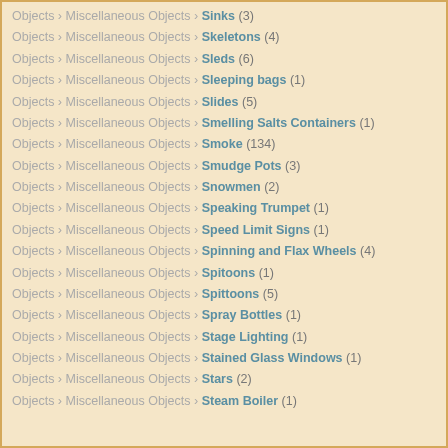Objects › Miscellaneous Objects › Sinks (3)
Objects › Miscellaneous Objects › Skeletons (4)
Objects › Miscellaneous Objects › Sleds (6)
Objects › Miscellaneous Objects › Sleeping bags (1)
Objects › Miscellaneous Objects › Slides (5)
Objects › Miscellaneous Objects › Smelling Salts Containers (1)
Objects › Miscellaneous Objects › Smoke (134)
Objects › Miscellaneous Objects › Smudge Pots (3)
Objects › Miscellaneous Objects › Snowmen (2)
Objects › Miscellaneous Objects › Speaking Trumpet (1)
Objects › Miscellaneous Objects › Speed Limit Signs (1)
Objects › Miscellaneous Objects › Spinning and Flax Wheels (4)
Objects › Miscellaneous Objects › Spitoons (1)
Objects › Miscellaneous Objects › Spittoons (5)
Objects › Miscellaneous Objects › Spray Bottles (1)
Objects › Miscellaneous Objects › Stage Lighting (1)
Objects › Miscellaneous Objects › Stained Glass Windows (1)
Objects › Miscellaneous Objects › Stars (2)
Objects › Miscellaneous Objects › Steam Boiler (1)